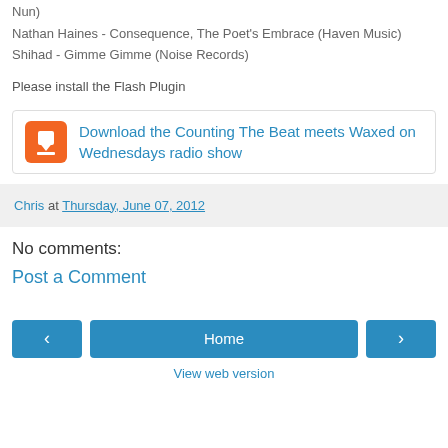Nun)
Nathan Haines - Consequence, The Poet's Embrace (Haven Music)
Shihad - Gimme Gimme (Noise Records)
Please install the Flash Plugin
Download the Counting The Beat meets Waxed on Wednesdays radio show
Chris at Thursday, June 07, 2012
No comments:
Post a Comment
View web version